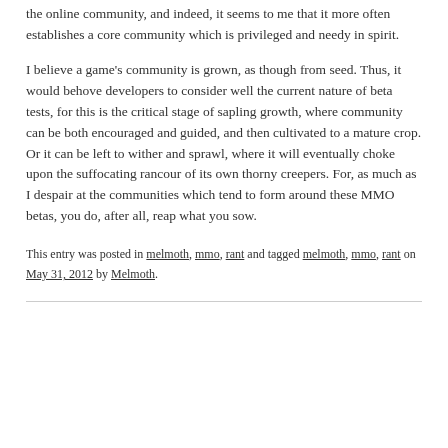the online community, and indeed, it seems to me that it more often establishes a core community which is privileged and needy in spirit.
I believe a game's community is grown, as though from seed. Thus, it would behove developers to consider well the current nature of beta tests, for this is the critical stage of sapling growth, where community can be both encouraged and guided, and then cultivated to a mature crop. Or it can be left to wither and sprawl, where it will eventually choke upon the suffocating rancour of its own thorny creepers. For, as much as I despair at the communities which tend to form around these MMO betas, you do, after all, reap what you sow.
This entry was posted in melmoth, mmo, rant and tagged melmoth, mmo, rant on May 31, 2012 by Melmoth.